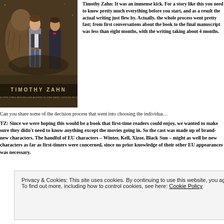[Figure (photo): Book cover for a Timothy Zahn novel showing characters including a Wookiee and humans, with author name 'TIMOTHY ZAHN' and subtitle 'NEW YORK TIMES BESTSELLING AUTHOR OF STAR WARS: CHOICES OF ONE']
Timothy Zahn: It was an immense kick. For a story like this you need to know pretty much everything before you start, and as a result the actual writing just flew by. Actually, the whole process went pretty fast; from first conversations about the book to the final manuscript was less than eight months, with the writing taking about 4 months.
Can you share some of the decision process that went into choosing the individua...
TZ: Since we were hoping this would be a book that first-time readers could enjoy, we wanted to make sure they didn't need to know anything except the movies going in. So the cast was made up of brand-new characters. The handful of EU characters – Winter, Kell, Xizor, Black Sun – might as well be new characters as far as first-timers were concerned, since no prior knowledge of their other EU appearances was nece...
Privacy & Cookies: This site uses cookies. By continuing to use this website, you agree to their use.
To find out more, including how to control cookies, see here: Cookie Policy
Close and accept